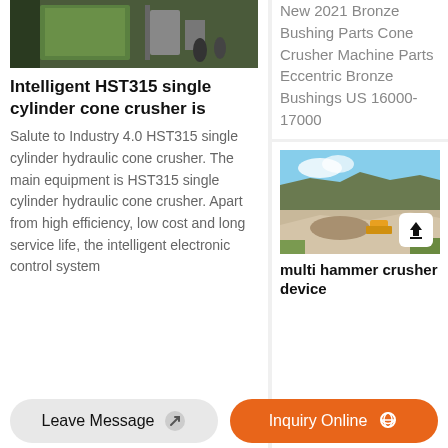[Figure (photo): Industrial equipment / machinery photo in left column top]
Intelligent HST315 single cylinder cone crusher is
Salute to Industry 4.0 HST315 single cylinder hydraulic cone crusher. The main equipment is HST315 single cylinder hydraulic cone crusher. Apart from high efficiency, low cost and long service life, the intelligent electronic control system
New 2021 Bronze Bushing Parts Cone Crusher Machine Parts Eccentric Bronze Bushings US 16000-17000
[Figure (photo): Quarry/mining site aerial view with blue sky and rocky terrain]
multi hammer crusher device